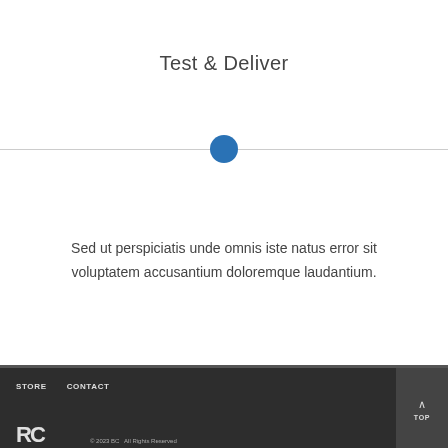Test & Deliver
[Figure (other): Horizontal divider line with a blue circle dot centered on it]
Sed ut perspiciatis unde omnis iste natus error sit voluptatem accusantium doloremque laudantium.
STORE   CONTACT   TOP   © 2023 BC... All Rights Reserved...